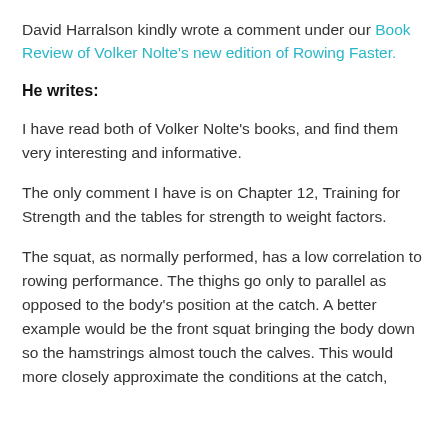David Harralson kindly wrote a comment under our Book Review of Volker Nolte's new edition of Rowing Faster.
He writes:
I have read both of Volker Nolte's books, and find them very interesting and informative.
The only comment I have is on Chapter 12, Training for Strength and the tables for strength to weight factors.
The squat, as normally performed, has a low correlation to rowing performance. The thighs go only to parallel as opposed to the body's position at the catch. A better example would be the front squat bringing the body down so the hamstrings almost touch the calves. This would more closely approximate the conditions at the catch,